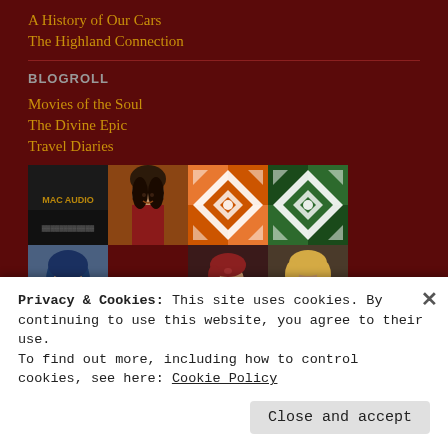A History of Our Cars
The Highland Connection
BLOGROLL
Movies of the Soul
The Divine Epic
Travel Diaries
[Figure (photo): Grid of blog avatar thumbnails: MAC AUDIO text on dark background, woman with dark hair, orange/white geometric quilt pattern, green/white geometric quilt pattern, person in blue hood, red car illustration, woman with red short hair, blonde woman smiling, man with glasses illustrated, cartoon girl with black hair on yellow background]
Privacy & Cookies: This site uses cookies. By continuing to use this website, you agree to their use.
To find out more, including how to control cookies, see here: Cookie Policy
Close and accept